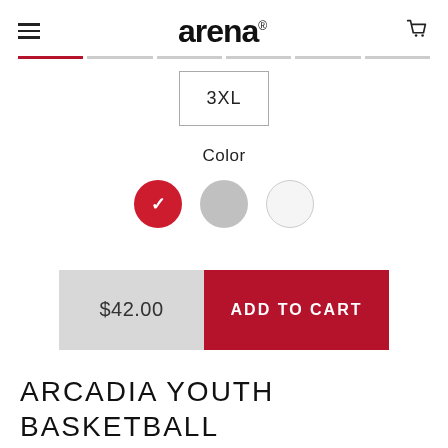arena
[Figure (other): Size selector progress bar with 6 segments, first segment highlighted in red]
[Figure (other): Size selection box showing 3XL]
Color
[Figure (other): Three color swatches: red (selected with checkmark), gray, and white]
[Figure (other): Add to cart button row with price $42.00 on left and ADD TO CART button on right]
ARCADIA YOUTH BASKETBALL : DRI-FIT TEXTURE POLO